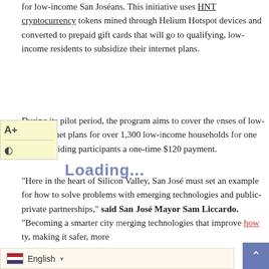for low-income San Joséans. This initiative uses HNT cryptocurrency tokens mined through Helium Hotspot devices and converted to prepaid gift cards that will go to qualifying, low-income residents to subsidize their internet plans.
During its pilot period, the program aims to cover the expenses of low-cost internet plans for over 1,300 low-income households for one year, providing participants a one-time $120 payment.
"Here in the heart of Silicon Valley, San José must set an example for how to solve problems with emerging technologies and public-private partnerships," said San José Mayor Sam Liccardo. "Becoming a smarter city [merging technologies that improve how ...] making it safer, more